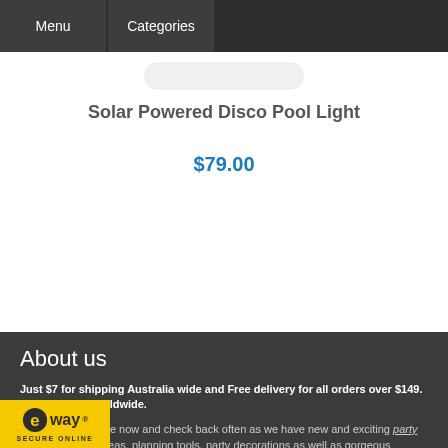Menu | Categories
Solar Powered Disco Pool Light
$79.00
About us
Just $7 for shipping Australia wide and Free delivery for all orders over $149. We also ship worldwide.
Bookmark our page now and check back often as we have new and exciting party supplies, recipe ideas, planning tools, party decorations as well as gorgeous decorative embellishments, birthday party items and disco and string lighting supplies that will your festive celebrations.
[Figure (logo): eWay Secure Online payment logo badge]